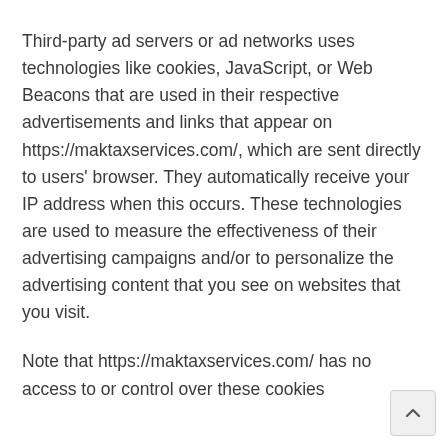Third-party ad servers or ad networks uses technologies like cookies, JavaScript, or Web Beacons that are used in their respective advertisements and links that appear on https://maktaxservices.com/, which are sent directly to users' browser. They automatically receive your IP address when this occurs. These technologies are used to measure the effectiveness of their advertising campaigns and/or to personalize the advertising content that you see on websites that you visit.
Note that https://maktaxservices.com/ has no access to or control over these cookies